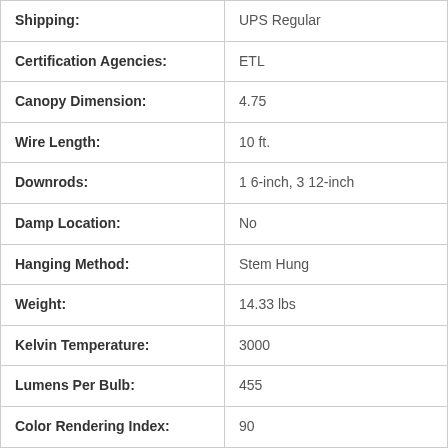| Attribute | Value |
| --- | --- |
| Shipping: | UPS Regular |
| Certification Agencies: | ETL |
| Canopy Dimension: | 4.75 |
| Wire Length: | 10 ft. |
| Downrods: | 1 6-inch, 3 12-inch |
| Damp Location: | No |
| Hanging Method: | Stem Hung |
| Weight: | 14.33 lbs |
| Kelvin Temperature: | 3000 |
| Lumens Per Bulb: | 455 |
| Color Rendering Index: | 90 |
| Made In America: | No |